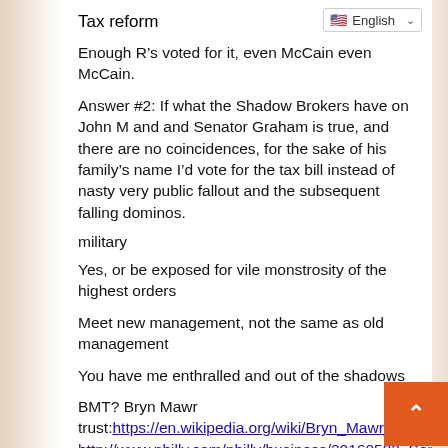Tax reform
Enough R’s voted for it, even McCain even McCain.
Answer #2: If what the Shadow Brokers have on John M and and Senator Graham is true, and there are no coincidences, for the sake of his family’s name I’d vote for the tax bill instead of nasty very public fallout and the subsequent falling dominos.
military
Yes, or be exposed for vile monstrosity of the highest orders
Meet new management, not the same as old management
You have me enthralled and out of the shadows
BMT? Bryn Mawr trust:https://en.wikipedia.org/wiki/Bryn_Mawr_Trust http://www.philly.com/philly/business/20160502_So...nder Local to this, this caters to the extremely wealthy in DuPont infested areas, also twin to ...FLYROTHFLY...